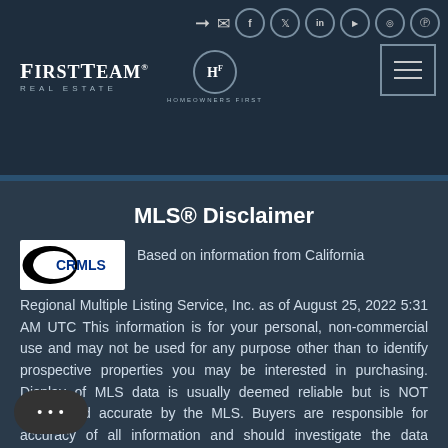[Figure (logo): FirstTeam Real Estate and Homeowners First logo on dark navy header with social media icons and hamburger menu]
MLS® Disclaimer
[Figure (logo): CRMLS logo - California Regional Multiple Listing Service]
Based on information from California Regional Multiple Listing Service, Inc. as of August 25, 2022 5:31 AM UTC This information is for your personal, non-commercial use and may not be used for any purpose other than to identify prospective properties you may be interested in purchasing. Display of MLS data is usually deemed reliable but is NOT guaranteed accurate by the MLS. Buyers are responsible for accuracy of all information and should investigate the data themselves or retain appropriate professionals.